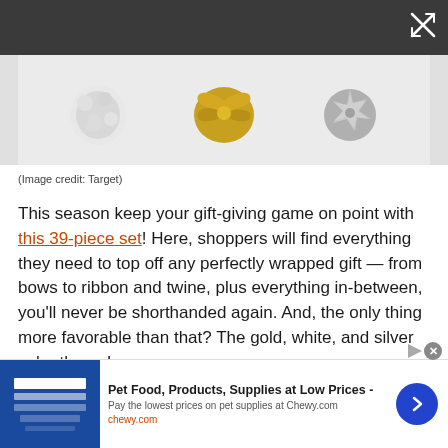[Figure (photo): Dark toolbar with close/expand button at top right, followed by a photo strip showing gold, white and silver gift bows/ornaments on a light background]
(Image credit: Target)
This season keep your gift-giving game on point with this 39-piece set! Here, shoppers will find everything they need to top off any perfectly wrapped gift — from bows to ribbon and twine, plus everything in-between, you'll never be shorthanded again. And, the only thing more favorable than that? The gold, white, and silver color theme!
[Figure (screenshot): Advertisement banner for Chewy.com: Pet Food, Products, Supplies at Low Prices - Pay the lowest prices on pet supplies at Chewy.com, chewy.com, with blue store image on left and blue circular arrow button on right]